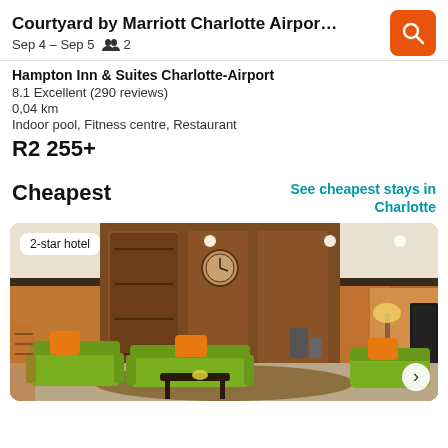Courtyard by Marriott Charlotte Airport Nor...  Sep 4 – Sep 5  2
Hampton Inn & Suites Charlotte-Airport
8.1 Excellent (290 reviews)
0,04 km
Indoor pool, Fitness centre, Restaurant
R2 255+
Cheapest
See cheapest stays in Charlotte
[Figure (photo): Hotel lobby photo showing green sofas with orange cushions, wood paneling, clock on wall, and warm lighting. Badge reads '2-star hotel'. Arrow navigation on right.]